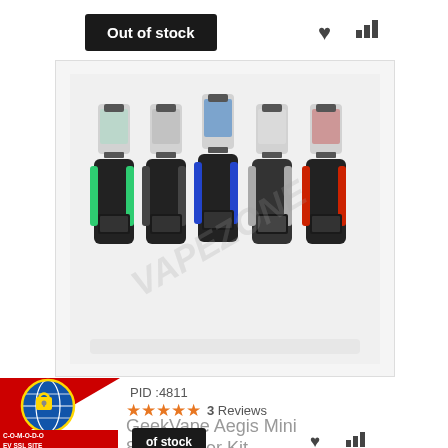Out of stock
[Figure (photo): Five GeekVape Aegis Mini 80W Starter Kit vaping devices in different colors (green, black, blue, silver, red) displayed side by side with tanks attached, watermark overlay reading VAPEZONE]
GeekVape Aegis Mini 80W Starter Kit
PID :4811
★★★★★ 3 Reviews
[Figure (logo): Comodo EV SSL Site badge with globe icon and red label reading C-O-M-O-D-O EV SSL SITE AUTHENTIC & SECURE]
of stock